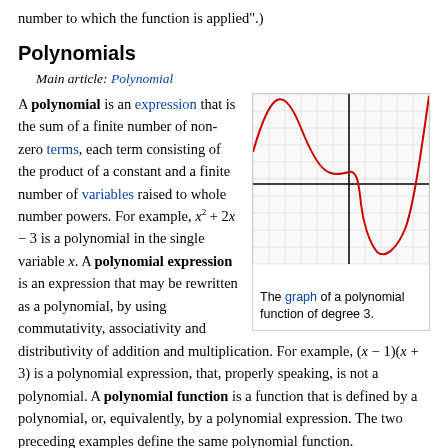number to which the function is applied".)
Polynomials
Main article: Polynomial
[Figure (continuous-plot): Graph of a cubic polynomial function (degree 3), showing a red curve with one local maximum and one local minimum, plotted on a grid with x and y axes drawn as black lines.]
The graph of a polynomial function of degree 3.
A polynomial is an expression that is the sum of a finite number of non-zero terms, each term consisting of the product of a constant and a finite number of variables raised to whole number powers. For example, x² + 2x − 3 is a polynomial in the single variable x. A polynomial expression is an expression that may be rewritten as a polynomial, by using commutativity, associativity and distributivity of addition and multiplication. For example, (x − 1)(x + 3) is a polynomial expression, that, properly speaking, is not a polynomial. A polynomial function is a function that is defined by a polynomial, or, equivalently, by a polynomial expression. The two preceding examples define the same polynomial function.